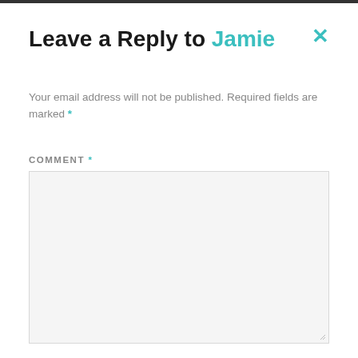Leave a Reply to Jamie
Your email address will not be published. Required fields are marked *
COMMENT *
[Figure (other): Empty comment text area input box with light gray background and border]